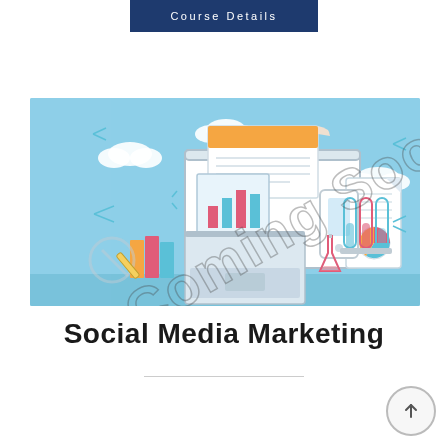Course Details
[Figure (illustration): Educational technology illustration on light blue background showing a monitor with charts, a laptop, a mobile phone, test tubes, books, pie chart document, molecular diagrams, share icons, and clouds, with a diagonal 'Coming Soon' watermark text overlay in dark gray.]
Social Media Marketing